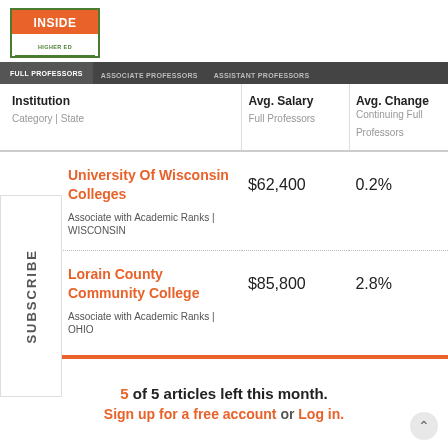[Figure (logo): Inside Higher Ed logo with green border, orange background for INSIDE text, green HIGHER ED and CAREERS text]
FULL PROFESSORS | ASSOCIATE PROFESSORS | ASSISTANT PROFESSORS | CAREERS
| Institution
Category | State | Avg. Salary
Full Professors | Avg. Change
Continuing Full Professors |
| --- | --- | --- |
| University Of Wisconsin Colleges
Associate with Academic Ranks | WISCONSIN | $62,400 | 0.2% |
| Lorain County Community College
Associate with Academic Ranks | OHIO | $85,800 | 2.8% |
SUBSCRIBE
5 of 5 articles left this month.
Sign up for a free account or Log in.